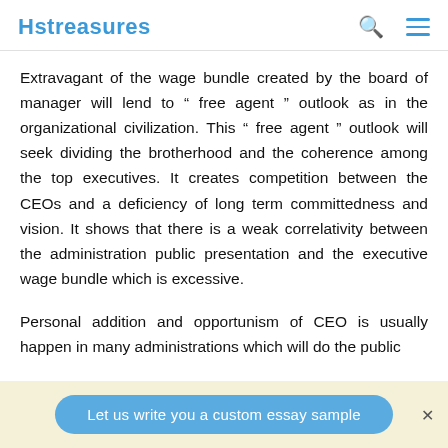Hstreasures
Extravagant of the wage bundle created by the board of manager will lend to " free agent " outlook as in the organizational civilization. This " free agent " outlook will seek dividing the brotherhood and the coherence among the top executives. It creates competition between the CEOs and a deficiency of long term committedness and vision. It shows that there is a weak correlativity between the administration public presentation and the executive wage bundle which is excessive.
Personal addition and opportunism of CEO is usually happen in many administrations which will do the public
Let us write you a custom essay sample